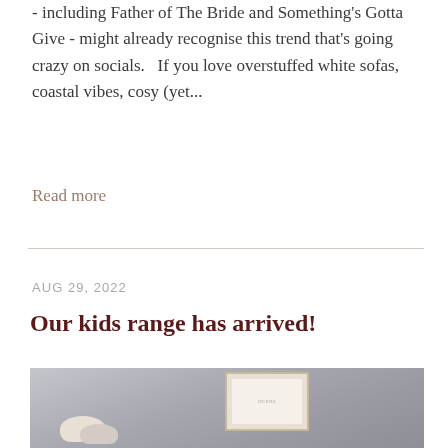- including Father of The Bride and Something's Gotta Give - might already recognise this trend that's going crazy on socials.   If you love overstuffed white sofas, coastal vibes, cosy (yet...
Read more
AUG 29, 2022
Our kids range has arrived!
[Figure (photo): A children's room or nursery vignette showing a framed botanical print on a grey wall, a white hat and decorative items on a shelf or rack, with a 'Chat with us' button overlay]